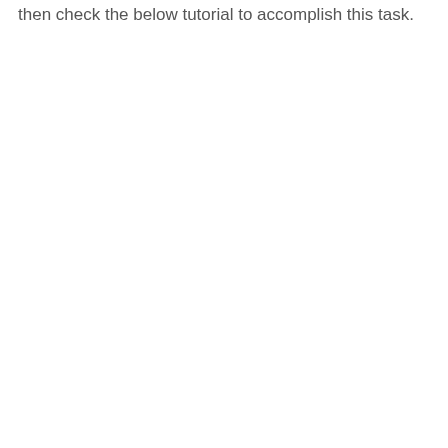then check the below tutorial to accomplish this task.